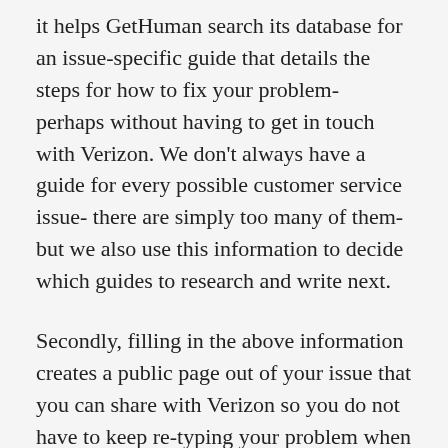it helps GetHuman search its database for an issue-specific guide that details the steps for how to fix your problem- perhaps without having to get in touch with Verizon. We don't always have a guide for every possible customer service issue- there are simply too many of them- but we also use this information to decide which guides to research and write next.
Secondly, filling in the above information creates a public page out of your issue that you can share with Verizon so you do not have to keep re-typing your problem when you reach out. You can also share with other customers to solicit help from them. When you resolve the issue, you can share with other customers how you resolve it. The next customer that comes along may see this and resolve their own problem faster thanks to you. You can use the links sent to your email address to edit or delete the public page created through this process at any time.